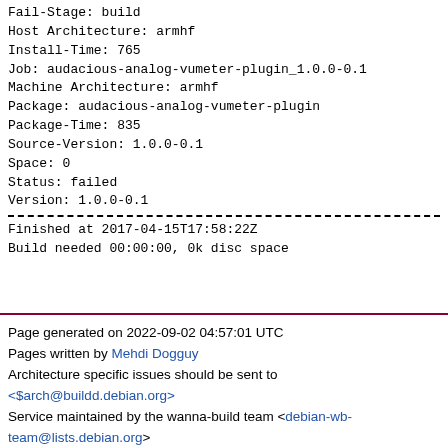Fail-Stage: build
Host Architecture: armhf
Install-Time: 765
Job: audacious-analog-vumeter-plugin_1.0.0-0.1
Machine Architecture: armhf
Package: audacious-analog-vumeter-plugin
Package-Time: 835
Source-Version: 1.0.0-0.1
Space: 0
Status: failed
Version: 1.0.0-0.1
Finished at 2017-04-15T17:58:22Z
Build needed 00:00:00, 0k disc space
Page generated on 2022-09-02 04:57:01 UTC
Pages written by Mehdi Dogguy
Architecture specific issues should be sent to <$arch@buildd.debian.org>
Service maintained by the wanna-build team <debian-wb-team@lists.debian.org>
Download code with: git clone https://buildd.debian.org/git/pgstatus.git
Valid XHTML  Valid CSS